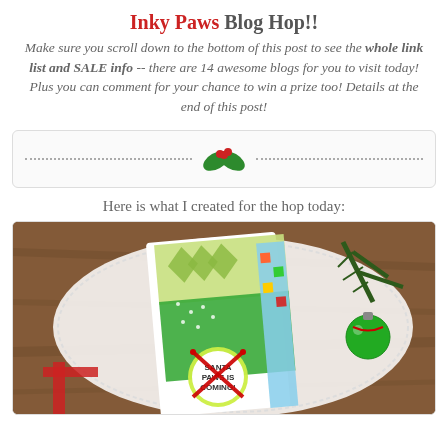Inky Paws Blog Hop!!
Make sure you scroll down to the bottom of this post to see the whole link list and SALE info -- there are 14 awesome blogs for you to visit today! Plus you can comment for your chance to win a prize too! Details at the end of this post!
[Figure (illustration): Holly decoration divider with dotted lines on either side]
Here is what I created for the hop today:
[Figure (photo): Christmas card featuring Santa Paws is Coming text with holiday patterned paper in green, red and white with cats, Christmas trees, argyle pattern, gifts, and a green ornament with pine branch on a lace doily background]